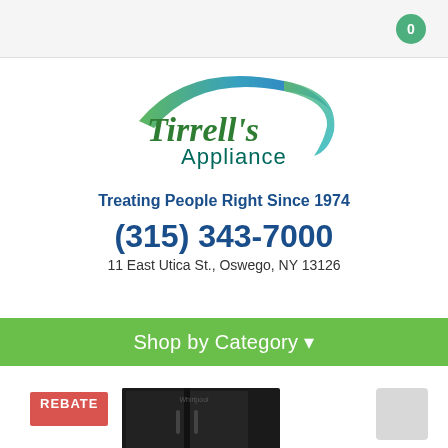0
[Figure (logo): Tirrell's Appliance logo with green and blue swoosh arc above stylized green script 'Tirrell's' and teal 'Appliance' text]
Treating People Right Since 1974
(315) 343-7000
11 East Utica St., Oswego, NY 13126
Shop by Category ▾
[Figure (photo): Black side-by-side refrigerator product image]
REBATE